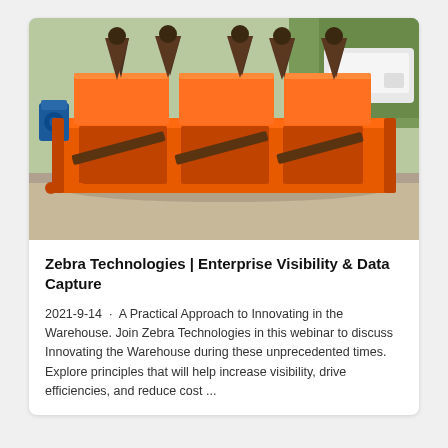[Figure (photo): Photo of a large orange industrial flotation machine/mineral processing equipment with multiple conical impeller units mounted on a long rectangular orange tank, photographed outdoors on a concrete surface with trees and a white vehicle visible in the background.]
Zebra Technologies | Enterprise Visibility & Data Capture
2021-9-14 · A Practical Approach to Innovating in the Warehouse. Join Zebra Technologies in this webinar to discuss Innovating the Warehouse during these unprecedented times. Explore principles that will help increase visibility, drive efficiencies, and reduce cost ...